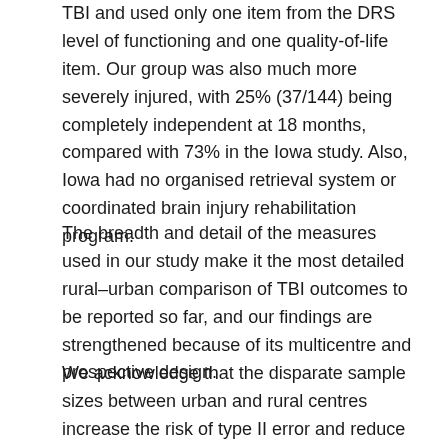TBI and used only one item from the DRS level of functioning and one quality-of-life item. Our group was also much more severely injured, with 25% (37/144) being completely independent at 18 months, compared with 73% in the Iowa study. Also, Iowa had no organised retrieval system or coordinated brain injury rehabilitation program.
The breadth and detail of the measures used in our study make it the most detailed rural–urban comparison of TBI outcomes to be reported so far, and our findings are strengthened because of its multicentre and prospective design.
We acknowledge that the disparate sample sizes between urban and rural centres increase the risk of type II error and reduce statistical power. However, post-hoc power calculations suggest our study had an estimated power of 71%. The median differences were